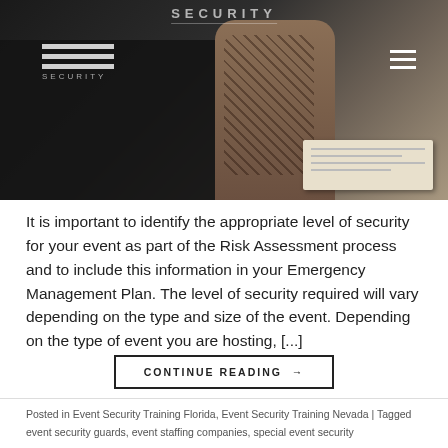[Figure (photo): A security guard wearing a black t-shirt with 'SECURITY' text, showing tattooed arms. A logo (JPS Security) is visible in the top left with a hamburger menu icon in the top right. Papers visible in the background.]
It is important to identify the appropriate level of security for your event as part of the Risk Assessment process and to include this information in your Emergency Management Plan. The level of security required will vary depending on the type and size of the event. Depending on the type of event you are hosting, [...]
CONTINUE READING →
Posted in Event Security Training Florida, Event Security Training Nevada | Tagged event security guards, event staffing companies, special event security